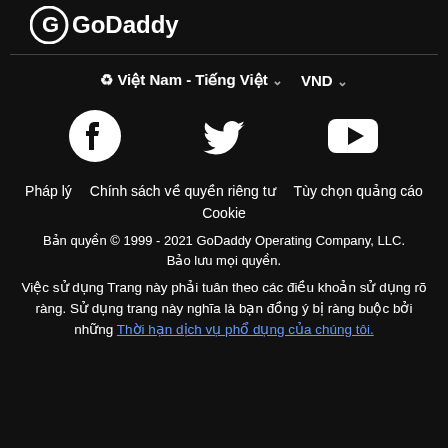[Figure (logo): GoDaddy logo in white on black background]
⊕ Việt Nam - Tiếng Việt ˅   VND ˅
[Figure (illustration): Social media icons: Facebook, Twitter, YouTube in white on black]
Pháp lý   Chính sách về quyền riêng tư   Tùy chọn quảng cáo   Cookie
Bản quyền © 1999 - 2021 GoDaddy Operating Company, LLC. Bảo lưu mọi quyền.
Việc sử dụng Trang này phải tuân theo các điều khoản sử dụng rõ ràng. Sử dụng trang này nghĩa là bạn đồng ý bị ràng buộc bởi những Thời hạn dịch vụ phổ dụng của chúng tôi.